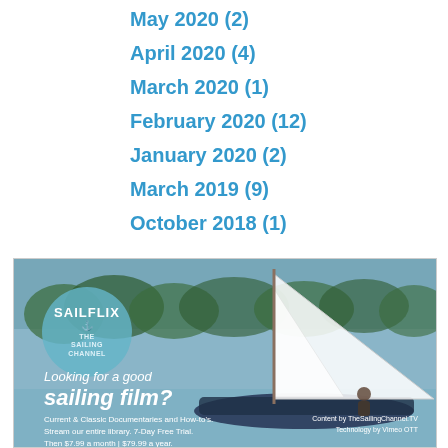May 2020 (2)
April 2020 (4)
March 2020 (1)
February 2020 (12)
January 2020 (2)
March 2019 (9)
October 2018 (1)
[Figure (photo): SAILFLIX advertisement banner featuring a sailboat on water with the text 'Looking for a good sailing film? Current & Classic Documentaries and How-tos. Stream our entire library. 7-Day Free Trial. Then $7.99 a month | $79.99 a year. Gift a subscription. Buy/Rent videos individually.' and a SAILFLIX logo circle. Content by TheSailingChannel.TV, Technology by Vimeo OTT.]